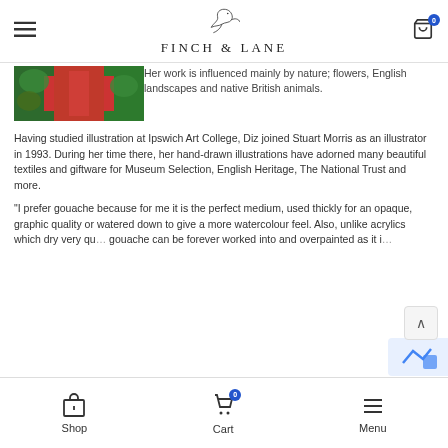FINCH & LANE
[Figure (photo): Partial photo showing red fabric/clothing with green foliage in background]
Her work is influenced mainly by nature; flowers, English landscapes and native British animals.
Having studied illustration at Ipswich Art College, Diz joined Stuart Morris as an illustrator in 1993. During her time there, her hand-drawn illustrations have adorned many beautiful textiles and giftware for Museum Selection, English Heritage, The National Trust and more.
“I prefer gouache because for me it is the perfect medium, used thickly for an opaque, graphic quality or watered down to give a more watercolour feel. Also, unlike acrylics which dry very qu... gouache can be forever worked into and overpainted as it i...
Shop   Cart   Menu